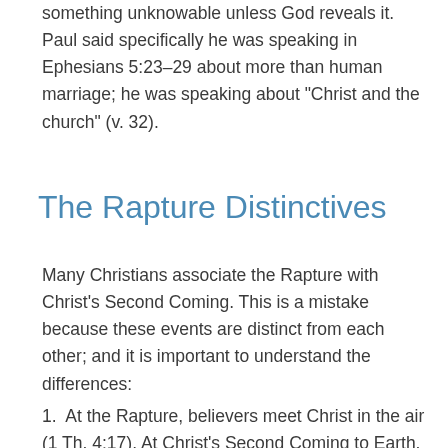something unknowable unless God reveals it. Paul said specifically he was speaking in Ephesians 5:23–29 about more than human marriage; he was speaking about “Christ and the church” (v. 32).
The Rapture Distinctives
Many Christians associate the Rapture with Christ’s Second Coming. This is a mistake because these events are distinct from each other; and it is important to understand the differences:
1. At the Rapture, believers meet Christ in the air (1 Th. 4:17). At Christ’s Second Coming to Earth, no